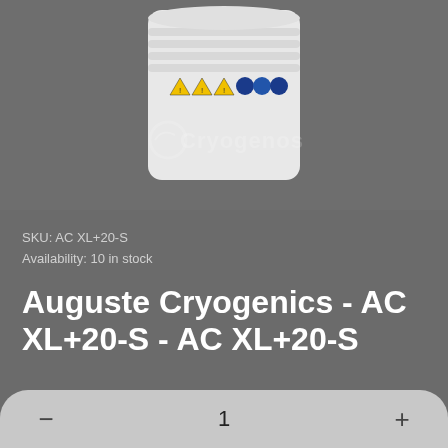Navigation bar with menu, search, cart, account, and filter icons
[Figure (photo): White cylindrical cryogenic storage container (liquid nitrogen tank) with hazard warning labels, partially overlaid with Auguste Cryogenics watermark logo, shown against a dark gray background]
SKU: AC XL+20-S
Availability: 10 in stock
Auguste Cryogenics - AC XL+20-S - AC XL+20-S
1